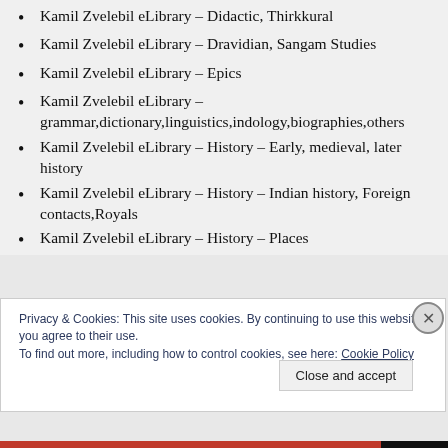Kamil Zvelebil eLibrary – Didactic, Thirkkural
Kamil Zvelebil eLibrary – Dravidian, Sangam Studies
Kamil Zvelebil eLibrary – Epics
Kamil Zvelebil eLibrary – grammar,dictionary,linguistics,indology,biographies,others
Kamil Zvelebil eLibrary – History – Early, medieval, later history
Kamil Zvelebil eLibrary – History – Indian history, Foreign contacts,Royals
Kamil Zvelebil eLibrary – History – Places
Privacy & Cookies: This site uses cookies. By continuing to use this website, you agree to their use.
To find out more, including how to control cookies, see here: Cookie Policy
Close and accept